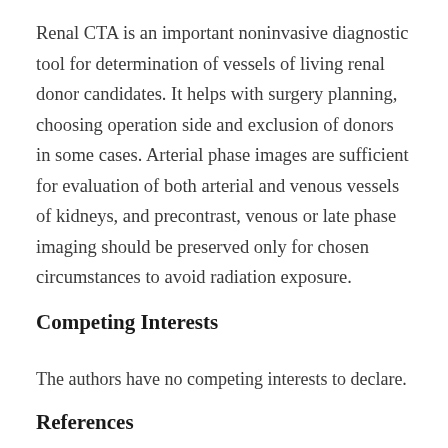Renal CTA is an important noninvasive diagnostic tool for determination of vessels of living renal donor candidates. It helps with surgery planning, choosing operation side and exclusion of donors in some cases. Arterial phase images are sufficient for evaluation of both arterial and venous vessels of kidneys, and precontrast, venous or late phase imaging should be preserved only for chosen circumstances to avoid radiation exposure.
Competing Interests
The authors have no competing interests to declare.
References